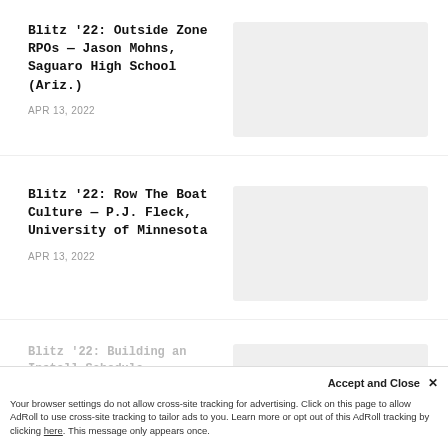Blitz '22: Outside Zone RPOs – Jason Mohns, Saguaro High School (Ariz.)
APR 13, 2022
[Figure (photo): Thumbnail image placeholder for article 1]
Blitz '22: Row The Boat Culture – P.J. Fleck, University of Minnesota
APR 13, 2022
[Figure (photo): Thumbnail image placeholder for article 2]
Blitz '22: Building an Install Schedule
[Figure (photo): Thumbnail image placeholder for article 3 (partially visible)]
Accept and Close ✕
Your browser settings do not allow cross-site tracking for advertising. Click on this page to allow AdRoll to use cross-site tracking to tailor ads to you. Learn more or opt out of this AdRoll tracking by clicking here. This message only appears once.